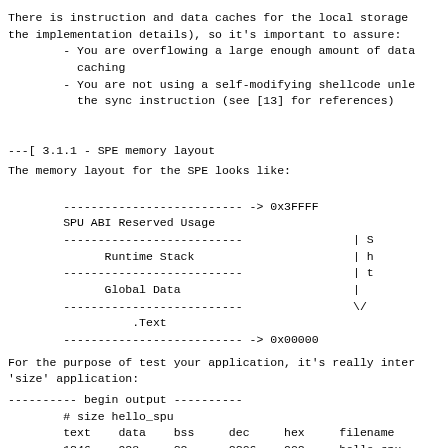There is instruction and data caches for the local storage
the implementation details), so it's important to assure:
- You are overflowing a large enough amount of data
  caching
- You are not using a self-modifying shellcode unle
  the sync instruction (see [13] for references)
---[ 3.1.1 - SPE memory layout
The memory layout for the SPE looks like:
[Figure (schematic): SPE memory layout diagram showing memory regions from 0x3FFFF at top to 0x00000 at bottom: SPU ABI Reserved Usage, Runtime Stack, Global Data, .Text]
For the purpose of test your application, it's really inter
'size' application:
---------- begin output ----------
        # size hello_spu
        text    data    bss     dec     hex     filename
        1346    928     32      2306    902     hello_spu
---------- end  output ----------